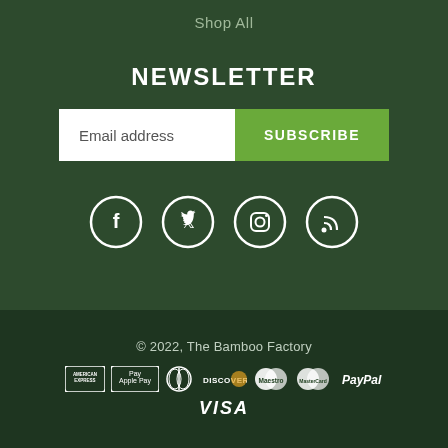Shop All
NEWSLETTER
Email address
SUBSCRIBE
[Figure (illustration): Social media icons: Facebook, Twitter, Instagram, RSS feed — each in a white circle outline on dark green background]
© 2022, The Bamboo Factory
[Figure (illustration): Payment method logos: American Express, Apple Pay, Diners Club, Discover, Maestro, MasterCard, PayPal, Visa]